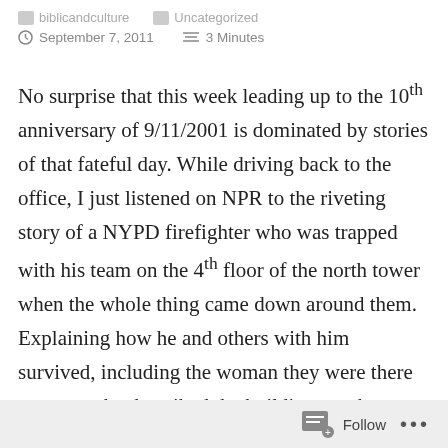biblicandculture   Uncategorized
September 7, 2011   3 Minutes
No surprise that this week leading up to the 10th anniversary of 9/11/2001 is dominated by stories of that fateful day. While driving back to the office, I just listened on NPR to the riveting story of a NYPD firefighter who was trapped with his team on the 4th floor of the north tower when the whole thing came down around them. Explaining how he and others with him survived, including the woman they were there to rescue, he described the building as a banana being peeled as it came down around them, as they, in the
Follow ...